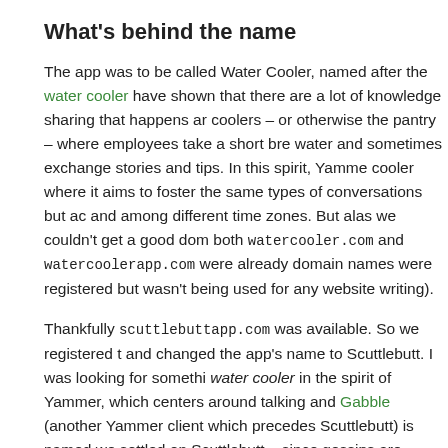What's behind the name
The app was to be called Water Cooler, named after the water cooler have shown that there are a lot of knowledge sharing that happens ar coolers – or otherwise the pantry – where employees take a short bre water and sometimes exchange stories and tips. In this spirit, Yamme cooler where it aims to foster the same types of conversations but ac and among different time zones. But alas we couldn't get a good dom both watercooler.com and watercoolerapp.com were already domain names were registered but wasn't being used for any website writing).
Thankfully scuttlebuttapp.com was available. So we registered t and changed the app's name to Scuttlebutt. I was looking for somethi water cooler in the spirit of Yammer, which centers around talking and Gabble (another Yammer client which precedes Scuttlebutt) is named we settled on Scuttlebutt – since gossips are among the things that h water coolers and by extension, Yammer.
How it came to be
I was introduced to Yammer while working for PayPal back in 2011. A